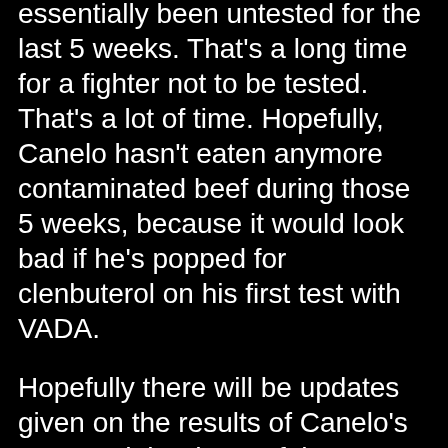essentially been untested for the last 5 weeks. That's a long time for a fighter not to be tested. That's a lot of time. Hopefully, Canelo hasn't eaten anymore contaminated beef during those 5 weeks, because it would look bad if he's popped for clenbuterol on his first test with VADA.
Hopefully there will be updates given on the results of Canelo's tests and the dates of the tests. The tests need to be done fairly frequently for them to be worth it. You can't have Canelo tested once every 2 months and expect that to be effective.
Canelo's promoter Oscar De La Hoya calls